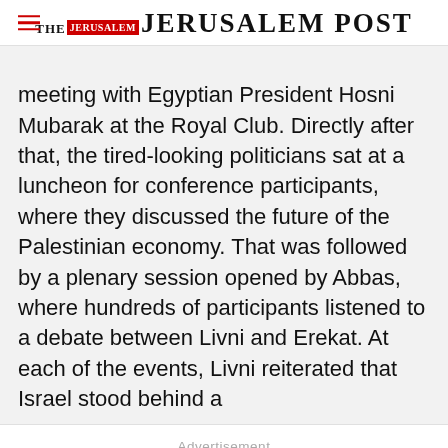THE JERUSALEM POST
meeting with Egyptian President Hosni Mubarak at the Royal Club. Directly after that, the tired-looking politicians sat at a luncheon for conference participants, where they discussed the future of the Palestinian economy. That was followed by a plenary session opened by Abbas, where hundreds of participants listened to a debate between Livni and Erekat. At each of the events, Livni reiterated that Israel stood behind a
Advertisement